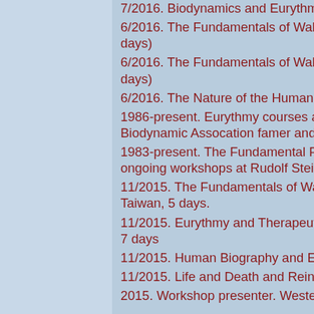7/2016. Biodynamics and Eurythmy. Playa del Carmen, Mexico (2 days)
6/2016. The Fundamentals of Waldorf Education, and Eurythmy.. Nanjing, China (5 days)
6/2016. The Fundamentals of Waldorf Education, and Eurythmy. Qing Dao, China (5 days)
6/2016. The Nature of the Human Being, and Eurythmy. Chengdu, China (5 days)
1986-present. Eurythmy courses and workshops with the Northern California Biodynamic Assocation famer and gardeners conferences.
1983-present. The Fundamental Principles of Anthroposophy in Biodynamic Agriculture, ongoing workshops at Rudolf Steiner College
11/2015. The Fundamentals of Waldorf Education, Taiwan Normal Teacher College, Taiwan, 5 days.
11/2015. Eurythmy and Therapeutic Eurythmy in the Taiwan Eurythmy Training, Taiwan. 7 days
11/2015. Human Biography and Eurythmy. Shanghai, China. (5 days).
11/2015. Life and Death and Reincarnation. Chengdu, China. (10 days).
2015. Workshop presenter. Western Waldorf